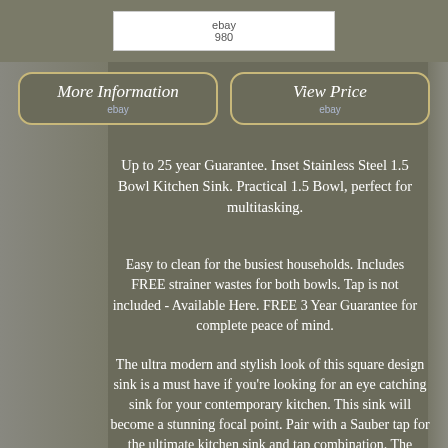[Figure (screenshot): Top bar with eBay watermark and dimension label '980']
[Figure (screenshot): Two buttons: 'More Information' and 'View Price' with eBay branding, on grey-brown background]
Up to 25 year Guarantee. Inset Stainless Steel 1.5 Bowl Kitchen Sink. Practical 1.5 Bowl, perfect for multitasking.
Easy to clean for the busiest households. Includes FREE strainer wastes for both bowls. Tap is not included - Available Here. FREE 3 Year Guarantee for complete peace of mind.
The ultra modern and stylish look of this square design sink is a must have if you're looking for an eye catching sink for your contemporary kitchen. This sink will become a stunning focal point. Pair with a Sauber tap for the ultimate kitchen sink and tap combination. The stunning larger bowl is accompanied by a second